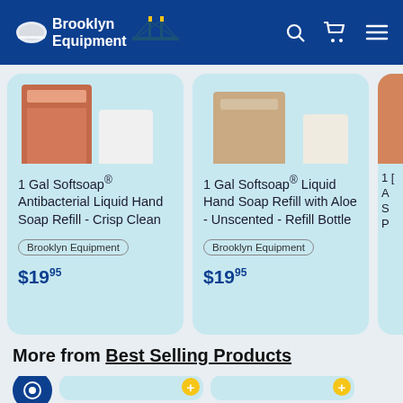Brooklyn Equipment
1 Gal Softsoap® Antibacterial Liquid Hand Soap Refill - Crisp Clean
Brooklyn Equipment
$19.95
1 Gal Softsoap® Liquid Hand Soap Refill with Aloe - Unscented - Refill Bottle
Brooklyn Equipment
$19.95
1 [partial] An... So... Pu...
Br...
$2...
More from Best Selling Products